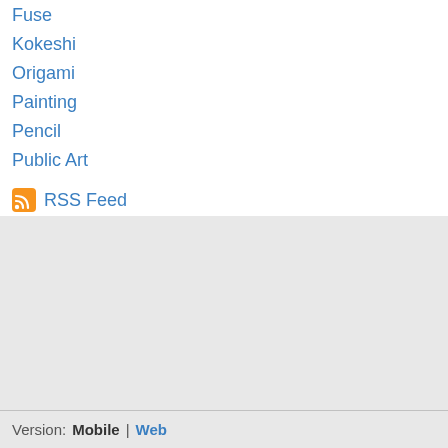Fuse
Kokeshi
Origami
Painting
Pencil
Public Art
RSS Feed
Version: Mobile | Web